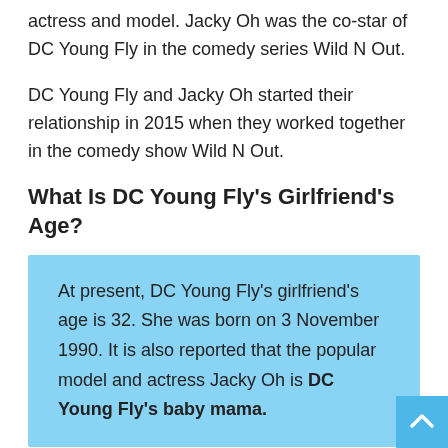actress and model. Jacky Oh was the co-star of DC Young Fly in the comedy series Wild N Out.
DC Young Fly and Jacky Oh started their relationship in 2015 when they worked together in the comedy show Wild N Out.
What Is DC Young Fly's Girlfriend's Age?
At present, DC Young Fly's girlfriend's age is 32. She was born on 3 November 1990. It is also reported that the popular model and actress Jacky Oh is DC Young Fly's baby mama.
The couple had shared cute snapshots of their daughters. No doubt, fans love those pictures and wished the couple good luck in their future.